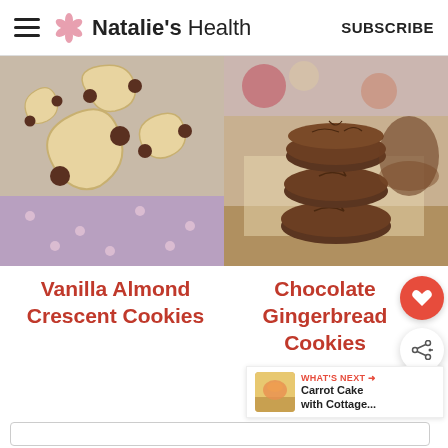Natalie's Health  SUBSCRIBE
[Figure (photo): Vanilla almond crescent cookies dipped in chocolate arranged on a pink polka dot surface]
[Figure (photo): Stack of chocolate gingerbread cookies on a wooden cutting board]
Vanilla Almond Crescent Cookies
Chocolate Gingerbread Cookies
WHAT'S NEXT → Carrot Cake with Cottage...